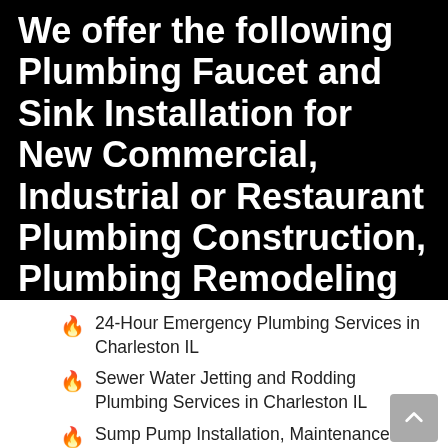We offer the following Plumbing Faucet and Sink Installation for New Commercial, Industrial or Restaurant Plumbing Construction, Plumbing Remodeling or Plumbing Maintenance Programs in Charleston IL:
24-Hour Emergency Plumbing Services in Charleston IL
Sewer Water Jetting and Rodding Plumbing Services in Charleston IL
Sump Pump Installation, Maintenance Services w/Battery Backup Systems and